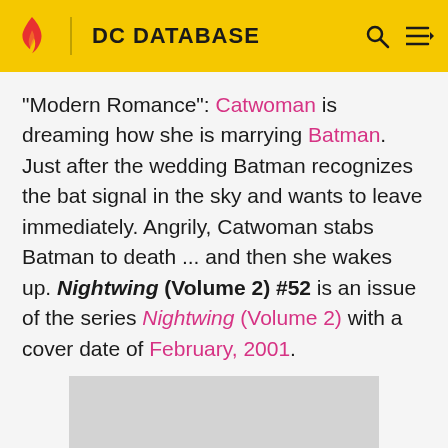DC DATABASE
"Modern Romance": Catwoman is dreaming how she is marrying Batman. Just after the wedding Batman recognizes the bat signal in the sky and wants to leave immediately. Angrily, Catwoman stabs Batman to death ... and then she wakes up. Nightwing (Volume 2) #52 is an issue of the series Nightwing (Volume 2) with a cover date of February, 2001.
[Figure (photo): Gray placeholder image rectangle]